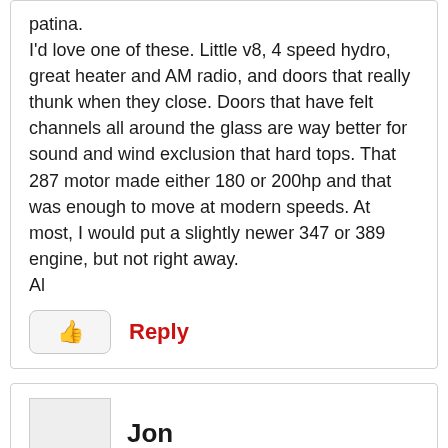patina.
I'd love one of these. Little v8, 4 speed hydro, great heater and AM radio, and doors that really thunk when they close. Doors that have felt channels all around the glass are way better for sound and wind exclusion that hard tops. That 287 motor made either 180 or 200hp and that was enough to move at modern speeds. At most, I would put a slightly newer 347 or 389 engine, but not right away.
Al
Reply
Jon